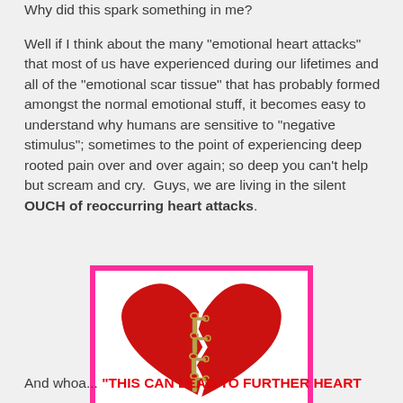Why did this spark something in me?
Well if I think about the many "emotional heart attacks" that most of us have experienced during our lifetimes and all of the "emotional scar tissue" that has probably formed amongst the normal emotional stuff, it becomes easy to understand why humans are sensitive to "negative stimulus"; sometimes to the point of experiencing deep rooted pain over and over again; so deep you can't help but scream and cry.  Guys, we are living in the silent OUCH of reoccurring heart attacks.
[Figure (illustration): A red paper heart broken in two pieces, held together by several safety pins, on a white background, framed with a bright pink border.]
And whoa... "THIS CAN LEAD TO FURTHER HEART